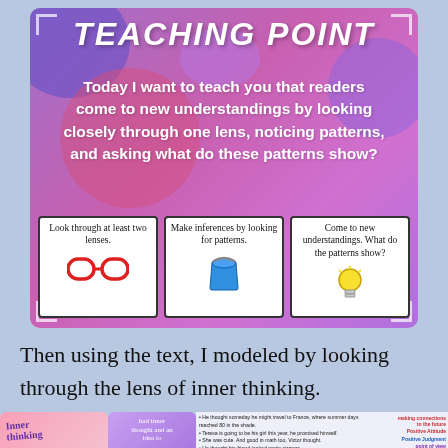[Figure (infographic): Teaching Point card with purple/pink gradient background, decorative blobs, white title text 'TEACHING POINT', body text about readers coming to new understandings, and three illustrated boxes at the bottom showing: red glasses with 'Look through at least two lenses.', a blue bucket with 'Make inferences by looking for patterns.', and a light bulb with 'Come to new understandings. What do the patterns show?']
Then using the text, I modeled by looking through the lens of inner thinking.
[Figure (photo): Bottom strip showing parts of three educational materials: a pink card labeled 'Inner thinking', a purple cloud shape with text, and a white section with bullet points about inner thinking examples, plus colored label tags on the right.]